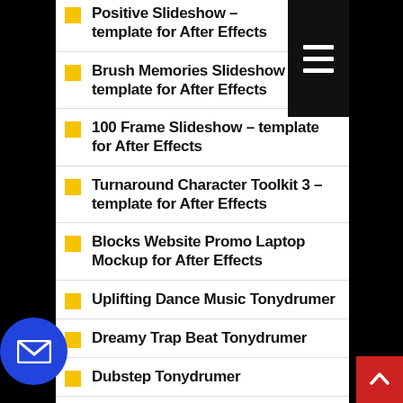Positive Slideshow – template for After Effects
Brush Memories Slideshow – template for After Effects
100 Frame Slideshow – template for After Effects
Turnaround Character Toolkit 3 – template for After Effects
Blocks Website Promo Laptop Mockup for After Effects
Uplifting Dance Music Tonydrumer
Dreamy Trap Beat Tonydrumer
Dubstep Tonydrumer